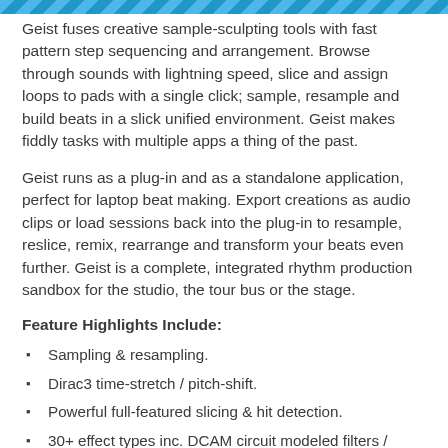Geist fuses creative sample-sculpting tools with fast pattern step sequencing and arrangement. Browse through sounds with lightning speed, slice and assign loops to pads with a single click; sample, resample and build beats in a slick unified environment. Geist makes fiddly tasks with multiple apps a thing of the past.
Geist runs as a plug-in and as a standalone application, perfect for laptop beat making. Export creations as audio clips or load sessions back into the plug-in to resample, reslice, remix, rearrange and transform your beats even further. Geist is a complete, integrated rhythm production sandbox for the studio, the tour bus or the stage.
Feature Highlights Include:
Sampling & resampling.
Dirac3 time-stretch / pitch-shift.
Powerful full-featured slicing & hit detection.
30+ effect types inc. DCAM circuit modeled filters / dynamics / drive & Overloud Breverb.
Pattern sequencing.